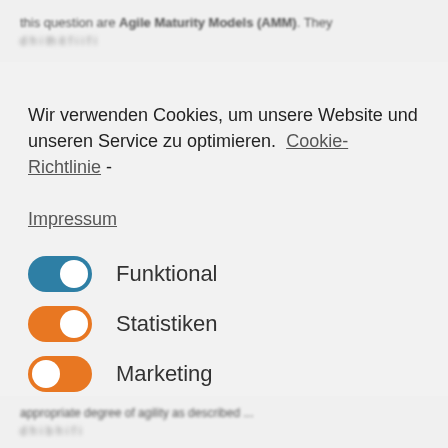this question are Agile Maturity Models (AMM). They ...
Wir verwenden Cookies, um unsere Website und unseren Service zu optimieren.  Cookie-Richtlinie - Impressum
[Figure (screenshot): Cookie consent dialog with three toggle switches (Funktional - blue/on, Statistiken - orange/on, Marketing - orange/on) and two buttons: 'Alle akzeptieren' (teal filled) and 'Einstellungen speichern' (teal outlined)]
appropriate degree of agility as described ...